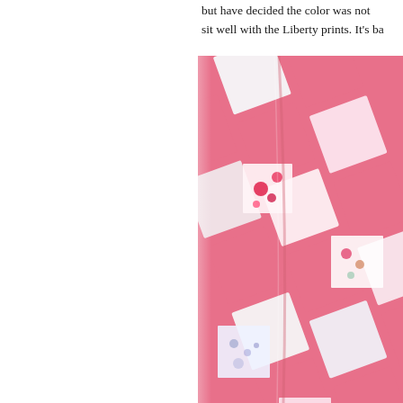but have decided the color was not right and does not sit well with the Liberty prints. It's ba...
[Figure (photo): A pink patchwork quilt with Liberty floral print fabric squares arranged in a diagonal pattern, rolled or folded to show the pattern. The solid pink squares alternate with floral printed squares featuring roses, daisies, and small flower patterns on white/cream backgrounds.]